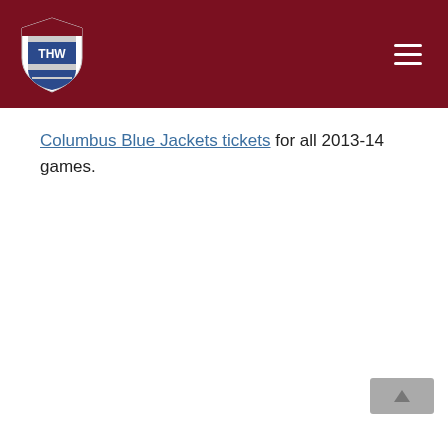THW - The Hockey Writers
Columbus Blue Jackets tickets for all 2013-14 games.